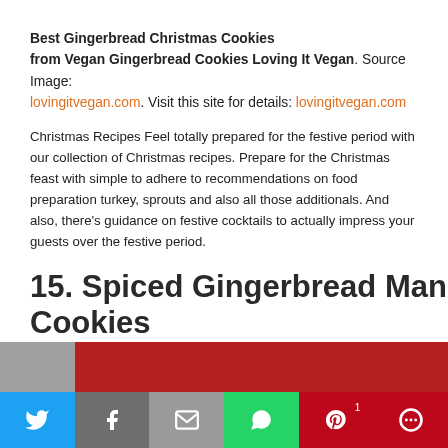Best Gingerbread Christmas Cookies from Vegan Gingerbread Cookies Loving It Vegan. Source Image: lovingitvegan.com. Visit this site for details: lovingitvegan.com
Christmas Recipes Feel totally prepared for the festive period with our collection of Christmas recipes. Prepare for the Christmas feast with simple to adhere to recommendations on food preparation turkey, sprouts and also all those additionals. And also, there's guidance on festive cocktails to actually impress your guests over the festive period.
15. Spiced Gingerbread Man Cookies
[Figure (photo): Partial view of a red-themed cookie tin or plate with gingerbread cookies, partially visible at the bottom of the page]
Social share bar: Twitter, Facebook, Email, WhatsApp, Pinterest (1), More